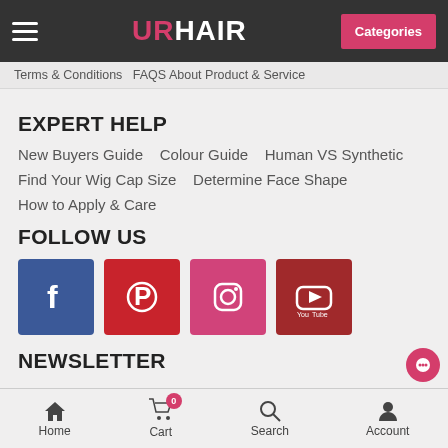URHAIR — Categories
Terms & Conditions   FAQS About Product & Service
EXPERT HELP
New Buyers Guide
Colour Guide
Human VS Synthetic
Find Your Wig Cap Size
Determine Face Shape
How to Apply & Care
FOLLOW US
[Figure (infographic): Social media icons: Facebook (blue), Pinterest (red), Instagram (pink/red), YouTube (dark red)]
NEWSLETTER
Home   Cart 0   Search   Account